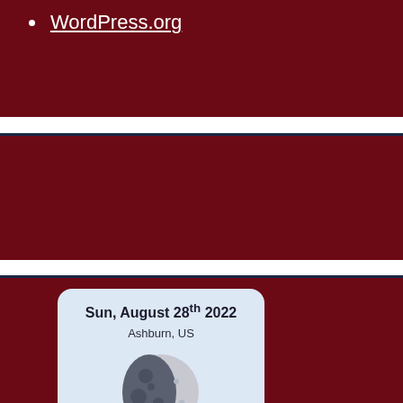WordPress.org
[Figure (other): Empty dark red banner section with navy top border]
[Figure (illustration): Moon phase card showing Sun, August 28th 2022, Ashburn US, with a waning gibbous moon illustration on light blue card background]